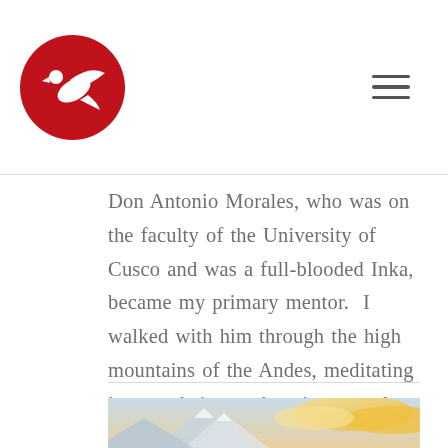[Figure (logo): Red circle logo with white bird/condor silhouette]
Don Antonio Morales, who was on the faculty of the University of Cusco and was a full-blooded Inka, became my primary mentor.  I walked with him through the high mountains of the Andes, meditating in sacred sites and ancient temples, I also studied...
read more
[Figure (photo): Mountain landscape photo with golden clouds and snow-capped peaks]